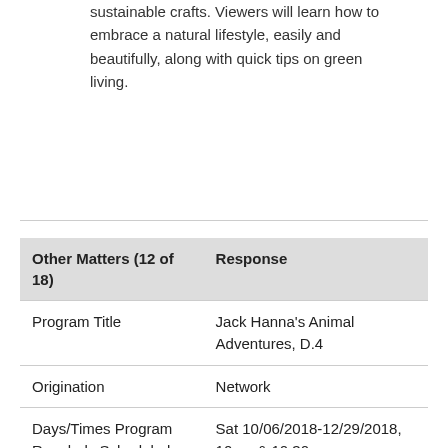sustainable crafts. Viewers will learn how to embrace a natural lifestyle, easily and beautifully, along with quick tips on green living.
| Other Matters (12 of 18) | Response |
| --- | --- |
| Program Title | Jack Hanna's Animal Adventures, D.4 |
| Origination | Network |
| Days/Times Program Regularly Scheduled | Sat 10/06/2018-12/29/2018, 10am & 10:30am |
| Total times aired at regularly scheduled time | 26 |
| Length of Program | 30 mins |